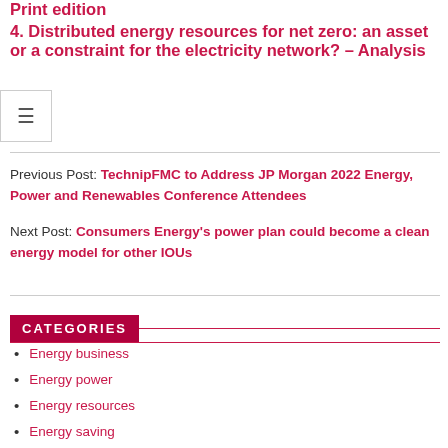4. Distributed energy resources for net zero: an asset or a constraint for the electricity network? – Analysis
Previous Post: TechnipFMC to Address JP Morgan 2022 Energy, Power and Renewables Conference Attendees
Next Post: Consumers Energy's power plan could become a clean energy model for other IOUs
CATEGORIES
Energy business
Energy power
Energy resources
Energy saving